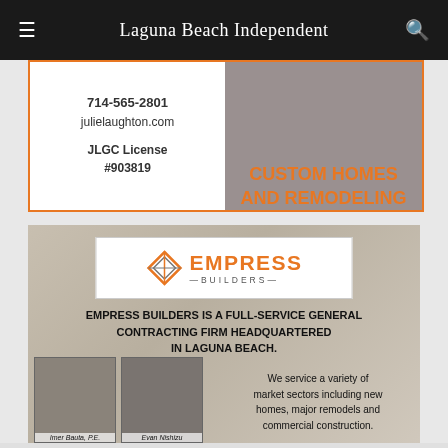Laguna Beach Independent
[Figure (photo): Top partial advertisement for Julie Laughton custom homes and remodeling with orange border. Shows phone number 714-565-2801, julielaughton.com, JLGC License #903819 on left; 'CUSTOM HOMES AND REMODELING' in orange on right.]
[Figure (photo): Empress Builders advertisement. Logo with diamond/shield icon and 'EMPRESS BUILDERS' in orange. Text: 'EMPRESS BUILDERS IS A FULL-SERVICE GENERAL CONTRACTING FIRM HEADQUARTERED IN LAGUNA BEACH.' Photos of Imer Bauta P.E. and Evan Nishizu. Body text: 'We service a variety of market sectors including new homes, major remodels and commercial construction.']